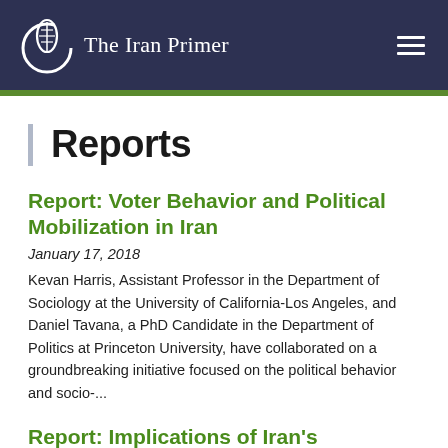The Iran Primer
Reports
Report: Voter Behavior and Political Mobilization in Iran
January 17, 2018
Kevan Harris, Assistant Professor in the Department of Sociology at the University of California-Los Angeles, and Daniel Tavana, a PhD Candidate in the Department of Politics at Princeton University, have collaborated on a groundbreaking initiative focused on the political behavior and socio-...
Report: Implications of Iran's Changing Demographics